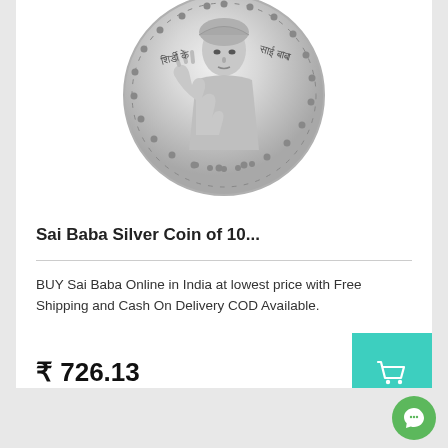[Figure (photo): Silver coin featuring Sai Baba with raised hand, surrounded by dotted border. Text in Devanagari script on either side.]
Sai Baba Silver Coin of 10...
BUY Sai Baba Online in India at lowest price with Free Shipping and Cash On Delivery COD Available.
₹ 726.13